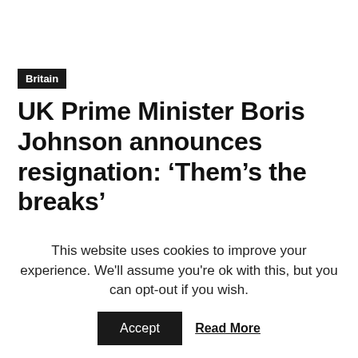Britain
UK Prime Minister Boris Johnson announces resignation: ‘Them’s the breaks’
This website uses cookies to improve your experience. We'll assume you're ok with this, but you can opt-out if you wish.